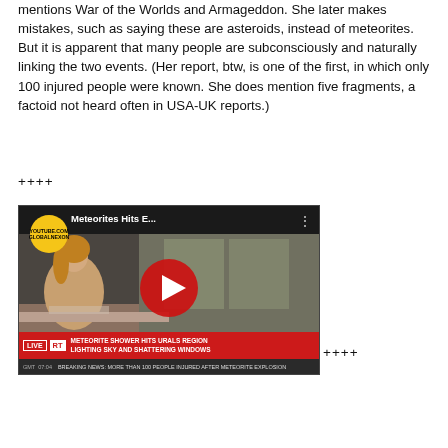mentions War of the Worlds and Armageddon. She later makes mistakes, such as saying these are asteroids, instead of meteorites. But it is apparent that many people are subconsciously and naturally linking the two events. (Her report, btw, is one of the first, in which only 100 injured people were known. She does mention five fragments, a factoid not heard often in USA-UK reports.)
++++
[Figure (screenshot): YouTube video thumbnail showing a news broadcast. Title reads 'Meteorites Hits E...' with a YouTube GlobalNexon logo. Red RT News ticker reads 'METEORITE SHOWER HITS URALS REGION LIGHTING SKY AND SHATTERING WINDOWS'. Breaking news scroll: 'BREAKING NEWS: MORE THAN 100 PEOPLE INJURED AFTER METEORITE EXPLOSION'. Large red play button overlay. A female news anchor is visible at a desk.]
++++